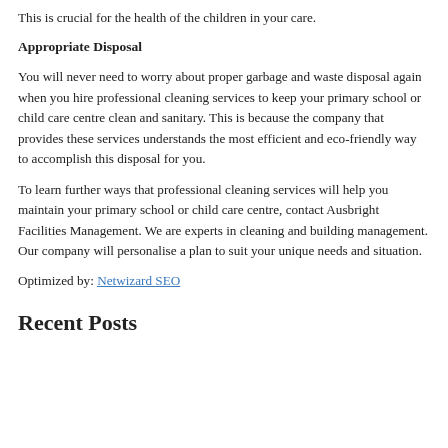This is crucial for the health of the children in your care.
Appropriate Disposal
You will never need to worry about proper garbage and waste disposal again when you hire professional cleaning services to keep your primary school or child care centre clean and sanitary. This is because the company that provides these services understands the most efficient and eco-friendly way to accomplish this disposal for you.
To learn further ways that professional cleaning services will help you maintain your primary school or child care centre, contact Ausbright Facilities Management. We are experts in cleaning and building management. Our company will personalise a plan to suit your unique needs and situation.
Optimized by: Netwizard SEO
Recent Posts